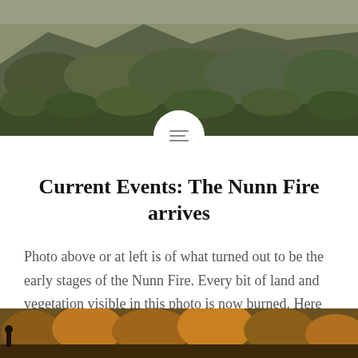[Figure (photo): Hillside covered with dense shrubs and trees, early stages of the Nunn Fire, landscape view]
Current Events: The Nunn Fire arrives
Photo above or at left is of what turned out to be the early stages of the Nunn Fire. Every bit of land and vegetation visible in this photo is now burned. Here are four short videos that show what we saw when the Nunn Fire arrived at our house around 1 p.m. on October…
READ MORE
[Figure (photo): Bottom landscape photo showing autumn trees and foliage in orange and gold tones]